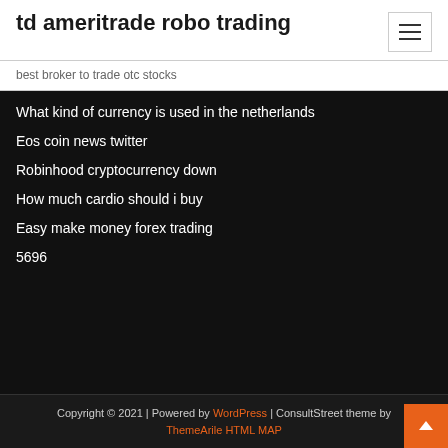td ameritrade robo trading
best broker to trade otc stocks
What kind of currency is used in the netherlands
Eos coin news twitter
Robinhood cryptocurrency down
How much cardio should i buy
Easy make money forex trading
5696
Copyright © 2021 | Powered by WordPress | ConsultStreet theme by ThemeArile HTML MAP